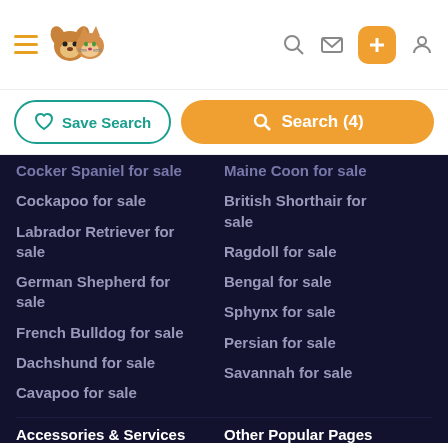Navigation header with logo, hamburger menu, search, message, add, and profile icons
Save Search | Search (4)
Cocker Spaniel for sale
Maine Coon for sale
Cockapoo for sale
British Shorthair for sale
Labrador Retriever for sale
Ragdoll for sale
German Shepherd for sale
Bengal for sale
French Bulldog for sale
Sphynx for sale
Dachshund for sale
Persian for sale
Cavapoo for sale
Savannah for sale
Accessories & Services
Other Popular Pages